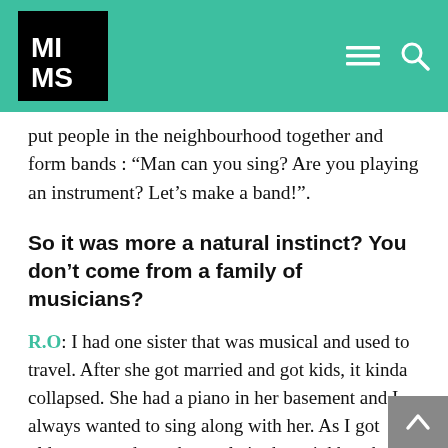MIMS logo and navigation header
put people in the neighbourhood together and form bands : “Man can you sing? Are you playing an instrument? Let’s make a band!”.
So it was more a natural instinct? You don’t come from a family of musicians?
R.O: I had one sister that was musical and used to travel. After she got married and got kids, it kinda collapsed. She had a piano in her basement and I always wanted to sing along with her. As I got older, we used to ask people in the neighbourhood that had a building with